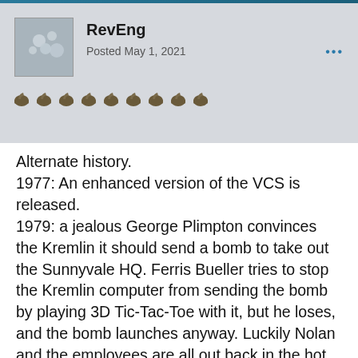RevEng — Posted May 1, 2021
Alternate history.
1977: An enhanced version of the VCS is released.
1979: a jealous George Plimpton convinces the Kremlin it should send a bomb to take out the Sunnyvale HQ. Ferris Bueller tries to stop the Kremlin computer from sending the bomb by playing 3D Tic-Tac-Toe with it, but he loses, and the bomb launches anyway. Luckily Nolan and the employees are all out back in the hot tub when the bomb hits, and are unscathed, except for some soot-covered faces and smouldering hair. With the building destroyed, George Plimpton convinces the bank manager to foreclose on Atari's mortgage, but at the last minute Nolan manages to sell the rights to the name "Atari" to some